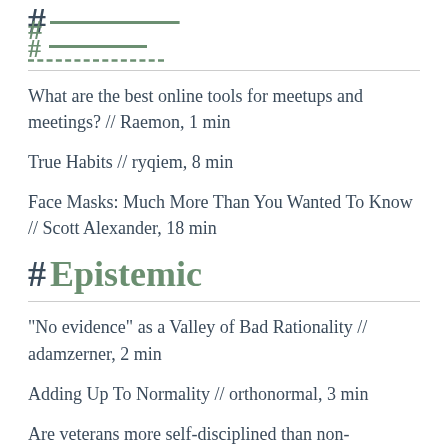# [partial header — cropped at top]
What are the best online tools for meetups and meetings? // Raemon, 1 min
True Habits // ryqiem, 8 min
Face Masks: Much More Than You Wanted To Know // Scott Alexander, 18 min
# Epistemic
"No evidence" as a Valley of Bad Rationality // adamzerner, 2 min
Adding Up To Normality // orthonormal, 3 min
Are veterans more self-disciplined than non-